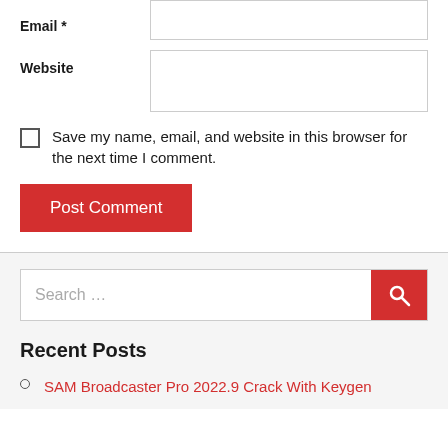Email *
Website
Save my name, email, and website in this browser for the next time I comment.
Post Comment
Search ...
Recent Posts
SAM Broadcaster Pro 2022.9 Crack With Keygen